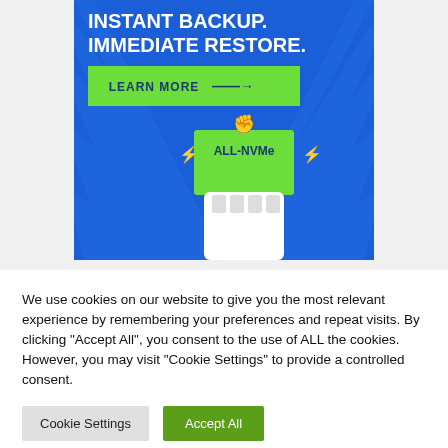[Figure (illustration): Advertisement banner with blue background and sunburst rays. Shows text 'INSTANT BACKUP. IMMEDIATE RESTORE.' in white bold uppercase letters, a green 'LEARN MORE →' button, and a fist holding a green sign that reads 'ALL-NVMe' with lightning bolt graphics.]
We use cookies on our website to give you the most relevant experience by remembering your preferences and repeat visits. By clicking "Accept All", you consent to the use of ALL the cookies. However, you may visit "Cookie Settings" to provide a controlled consent.
Cookie Settings
Accept All